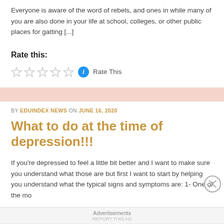Everyone is aware of the word of rebels, and ones in while many of you are also done in your life at school, colleges, or other public places for gatting [...]
Rate this:
[Figure (other): Five empty star rating icons followed by a blue info circle and 'Rate This' text]
BY EDUINDEX NEWS ON JUNE 16, 2020
What to do at the time of depression!!!
If you're depressed to feel a little bit better and I want to make sure you understand what those are but first I want to start by helping you understand what the typical signs and symptoms are: 1- One of the mo
Advertisements